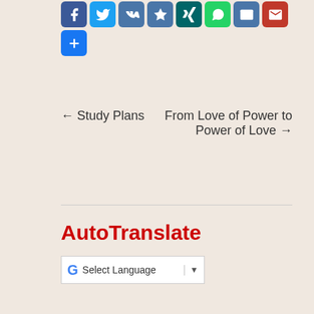[Figure (screenshot): Row of social media sharing icon buttons: Facebook, Twitter, VK, Odnoklassniki, XING, WhatsApp, Email, Gmail, and a plus/more button]
← Study Plans
From Love of Power to Power of Love →
AutoTranslate
[Figure (screenshot): Google Translate widget with 'Select Language' dropdown]